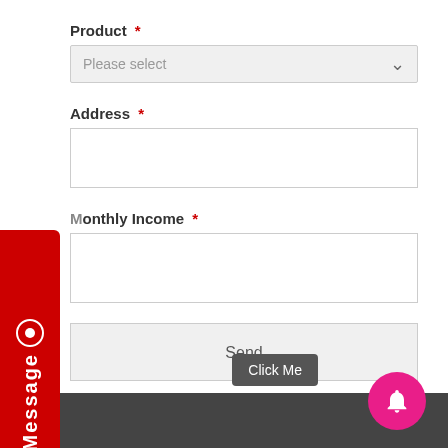Product *
Please select
Address *
Monthly Income *
Send
[Figure (screenshot): Red vertical message tab on the left side with a white circle icon and rotated 'Message' text]
Click Me
[Figure (illustration): Pink circular notification bell button in bottom-right corner]